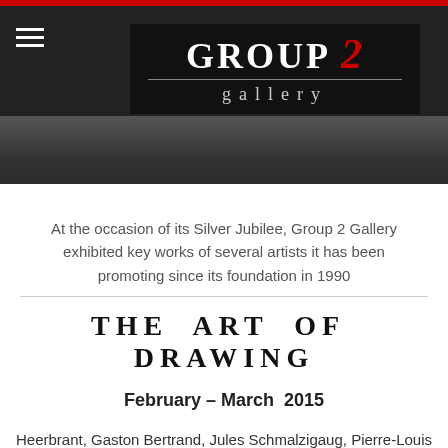[Figure (photo): Group 2 Gallery logo on dark background with figures/people in the lower portion of the photo area]
At the occasion of its Silver Jubilee, Group 2 Gallery exhibited key works of several artists it has been promoting since its foundation in 1990
THE ART OF DRAWING
February – March 2015
Heerbrant, Gaston Bertrand, Jules Schmalzigaug, Pierre-Louis Flouquet